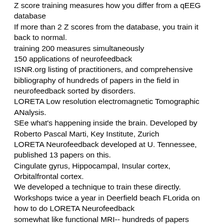Z score training measures how you differ from a qEEG database
If more than 2 Z scores from the database, you train it back to normal.
training 200 measures simultaneously
150 applications of neurofeedback
ISNR.org listing of practitioners, and comprehensive bibliography of hundreds of papers in the field in neurofeedback sorted by disorders.
LORETA Low resolution electromagnetic Tomographic ANalysis.
SEe what's happening inside the brain. Developed by Roberto Pascal Marti, Key Institute, Zurich
LORETA Neurofeedback developed at U. Tennessee, published 13 papers on this.
Cingulate gyrus, Hippocampal, Insular cortex, Orbitalfrontal cortex.
We developed a technique to train these directly.
Workshops twice a year in Deerfield beach FLorida on how to do LORETA Neurofeedback
somewhat like functional MRI-- hundreds of papers cross-correlating Loreta with PET, fMRI...
Programs that can be downloaded that give finer grain analysis
2394 location in grey matter in brain.
New programs allow over 6700 locations